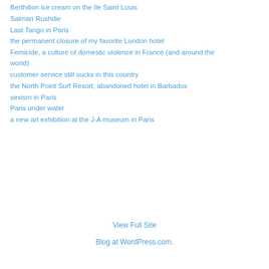Berthillon ice cream on the Ile Saint Louis
Salman Rushdie
Last Tango in Paris
the permanent closure of my favorite London hotel
Femicide, a culture of domestic violence in France (and around the world)
customer service still sucks in this country
the North Point Surf Resort, abandoned hotel in Barbados
sexism in Paris
Paris under water
a new art exhibition at the J-A museum in Paris
View Full Site
Blog at WordPress.com.